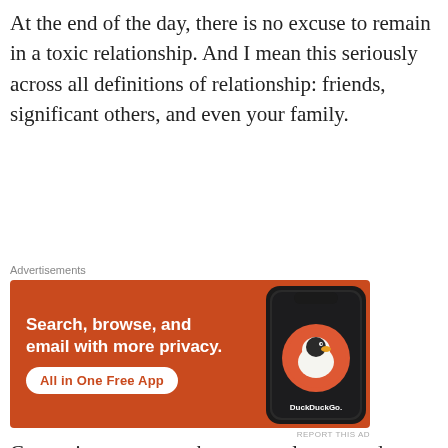At the end of the day, there is no excuse to remain in a toxic relationship. And I mean this seriously across all definitions of relationship: friends, significant others, and even your family.
[Figure (screenshot): DuckDuckGo advertisement banner. Orange background with white bold text reading 'Search, browse, and email with more privacy.' with a white button 'All in One Free App' and a phone showing the DuckDuckGo app icon on the right side.]
Convenience traps make us complacent, and we keep telling ourselves that we'll change, or maybe they will change, or maybe I'll just suck it up because it's easy to do that. We don't like discourse. We don't like change. Convenience traps make us satisfied with the crap that we've put